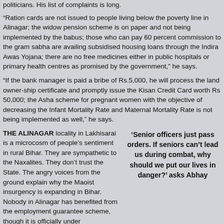politicians. His list of complaints is long.
“Ration cards are not issued to people living below the poverty line in Alinagar; the widow pension scheme is on paper and not being implemented by the babus; those who can pay 60 percent commission to the gram sabha are availing subsidised housing loans through the Indira Awas Yojana; there are no free medicines either in public hospitals or primary health centres as promised by the government,” he says.
“If the bank manager is paid a bribe of Rs.5,000, he will process the land owner-ship certificate and promptly issue the Kisan Credit Card worth Rs 50,000; the Asha scheme for pregnant women with the objective of decreasing the Infant Mortality Rate and Maternal Mortality Rate is not being implemented as well,” he says.
THE ALINAGAR locality in Lakhisarai is a microcosm of people’s sentiment in rural Bihar. They are sympathetic to the Naxalites. They don’t trust the State. The angry voices from the ground explain why the Maoist insurgency is expanding in Bihar. Nobody in Alinagar has benefited from the employment guarantee scheme, though it is officially under implementation. “All politicians work for those with money. The bureaucracy is always looking out to loot us. There is no equality. So why is
‘Senior officers just pass orders. If seniors can’t lead us during combat, why should we put our lives in danger?’ asks Abhay